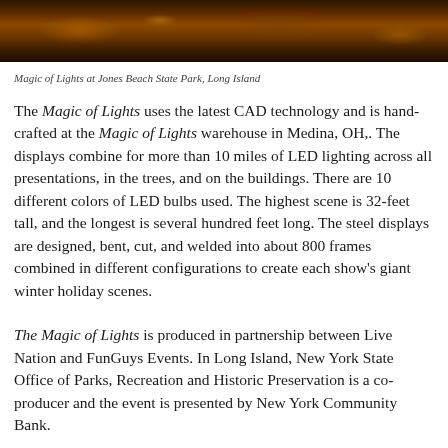[Figure (photo): Night-time photo of Magic of Lights display at Jones Beach State Park, showing illuminated trees and structures in warm orange and red tones]
Magic of Lights at Jones Beach State Park, Long Island
The Magic of Lights uses the latest CAD technology and is hand-crafted at the Magic of Lights warehouse in Medina, OH,. The displays combine for more than 10 miles of LED lighting across all presentations, in the trees, and on the buildings. There are 10 different colors of LED bulbs used. The highest scene is 32-feet tall, and the longest is several hundred feet long. The steel displays are designed, bent, cut, and welded into about 800 frames combined in different configurations to create each show's giant winter holiday scenes.
The Magic of Lights is produced in partnership between Live Nation and FunGuys Events. In Long Island, New York State Office of Parks, Recreation and Historic Preservation is a co-producer and the event is presented by New York Community Bank.